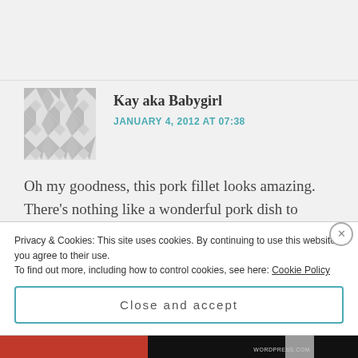[Figure (illustration): Geometric pattern avatar placeholder in grey and white diamond/triangle pattern]
Kay aka Babygirl
JANUARY 4, 2012 AT 07:38
Oh my goodness, this pork fillet looks amazing. There's nothing like a wonderful pork dish to make the day wonderful 🙂
Privacy & Cookies: This site uses cookies. By continuing to use this website, you agree to their use.
To find out more, including how to control cookies, see here: Cookie Policy
Close and accept